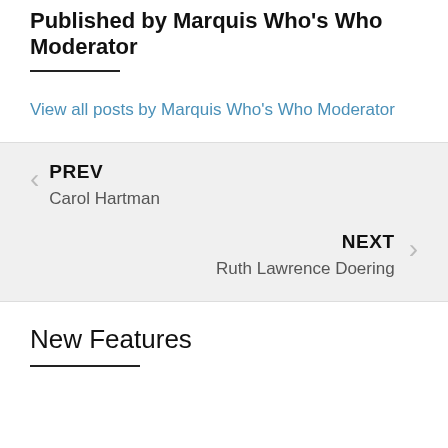Published by Marquis Who's Who Moderator
View all posts by Marquis Who's Who Moderator
PREV
Carol Hartman
NEXT
Ruth Lawrence Doering
New Features